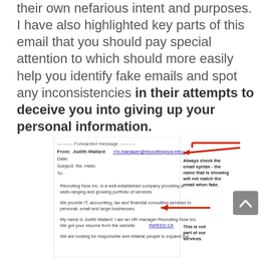their own nefarious intent and purposes. I have also highlighted key parts of this email that you should pay special attention to which should more easily help you identify fake emails and spot any inconsistencies in their attempts to deceive you into giving up your personal information.
[Figure (screenshot): Screenshot of a forwarded phishing email from Judith Mallard <hr.manager@recruitingnow.info> with annotations and red arrows pointing to suspicious elements. Includes annotation 'Always check the email syntax - the name that is showing will not match the email when fake.' and 'This is not part of our services.']